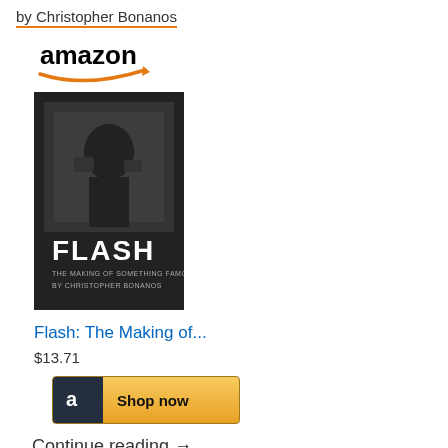by Christopher Bonanos
[Figure (logo): Amazon logo with orange arrow underneath]
[Figure (photo): Book cover of Flash: The Making of... showing black and white photo with title text]
Flash: The Making of...
$13.71
[Figure (other): Amazon Shop now button with orange gradient background and dark icon]
Continue reading →
June 27, 2018  David Chelsea  illustration  Andy Raskin, Jason Alexander, Modern Love Podcast
Modern Love Podcast: